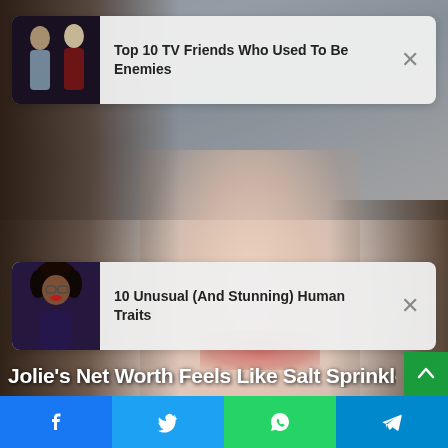[Figure (screenshot): Website screenshot showing two recommendation cards overlaid on a blurred celebrity photo background]
Top 10 TV Friends Who Used To Be Enemies
10 Unusual (And Stunning) Human Traits
Jolie's Net Worth Feels Like Salt Sprinkled On Our
[Figure (photo): Social share bar with Facebook, Twitter, WhatsApp, and Telegram buttons]